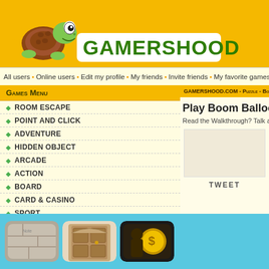[Figure (logo): Gamershood website logo with cartoon turtle mascot and yellow background]
All users • Online users • Edit my profile • My friends • Invite friends • My favorite games
Games Menu
ROOM ESCAPE
POINT AND CLICK
ADVENTURE
HIDDEN OBJECT
ARCADE
ACTION
BOARD
CARD & CASINO
SPORT
DRIVING
MULTIPLAYER
PLATFORM
PUZZLE
GAMERSHOOD.COM - Puzzle - Boom Balloon
Play Boom Balloon Game
Read the Walkthrough? Talk a
TWEET
[Figure (screenshot): Three game thumbnail images at the bottom: a stone/concrete textured image, a brown door, and a dark decorative image]